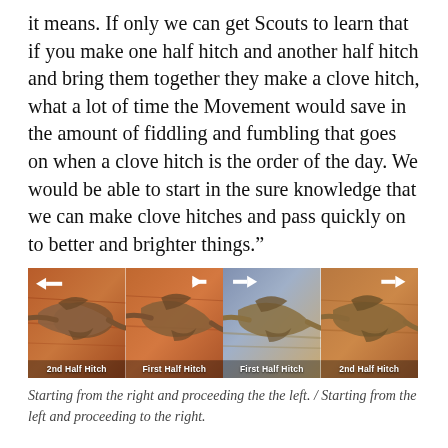it means. If only we can get Scouts to learn that if you make one half hitch and another half hitch and bring them together they make a clove hitch, what a lot of time the Movement would save in the amount of fiddling and fumbling that goes on when a clove hitch is the order of the day. We would be able to start in the sure knowledge that we can make clove hitches and pass quickly on to better and brighter things.”
[Figure (photo): Four side-by-side photos of rope knots on a wooden pole, each with a white arrow indicating direction and a label: '2nd Half Hitch', 'First Half Hitch', 'First Half Hitch', '2nd Half Hitch']
Starting from the right and proceeding the the left. / Starting from the left and proceeding to the right.